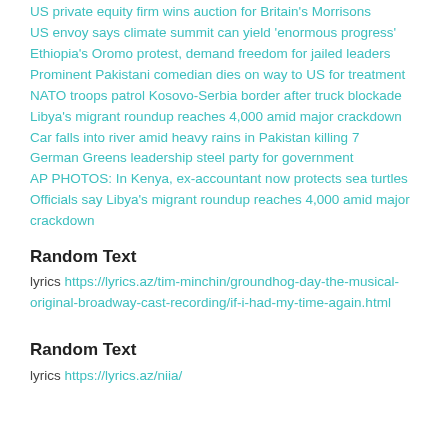US private equity firm wins auction for Britain's Morrisons
US envoy says climate summit can yield 'enormous progress'
Ethiopia's Oromo protest, demand freedom for jailed leaders
Prominent Pakistani comedian dies on way to US for treatment
NATO troops patrol Kosovo-Serbia border after truck blockade
Libya's migrant roundup reaches 4,000 amid major crackdown
Car falls into river amid heavy rains in Pakistan killing 7
German Greens leadership steel party for government
AP PHOTOS: In Kenya, ex-accountant now protects sea turtles
Officials say Libya's migrant roundup reaches 4,000 amid major crackdown
Random Text
lyrics https://lyrics.az/tim-minchin/groundhog-day-the-musical-original-broadway-cast-recording/if-i-had-my-time-again.html
Random Text
lyrics https://lyrics.az/niia/